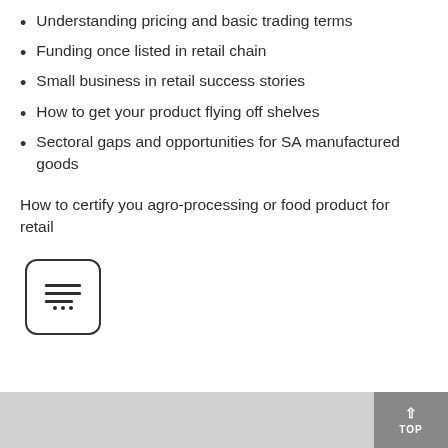Understanding pricing and basic trading terms
Funding once listed in retail chain
Small business in retail success stories
How to get your product flying off shelves
Sectoral gaps and opportunities for SA manufactured goods
How to certify you agro-processing or food product for retail
[Figure (other): Icon button with horizontal lines and dots, representing a menu or list view]